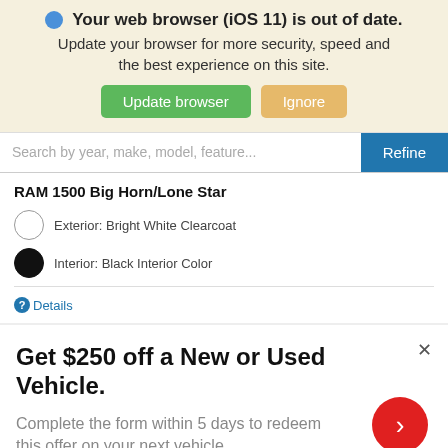Your web browser (iOS 11) is out of date. Update your browser for more security, speed and the best experience on this site.
[Figure (screenshot): Two buttons: 'Update browser' (green) and 'Ignore' (tan/yellow)]
Search by year, make, model, feature...
RAM 1500 Big Horn/Lone Star
Exterior: Bright White Clearcoat
Interior: Black Interior Color
Details
Get $250 off a New or Used Vehicle.
Complete the form within 5 days to redeem this offer on your next vehicle